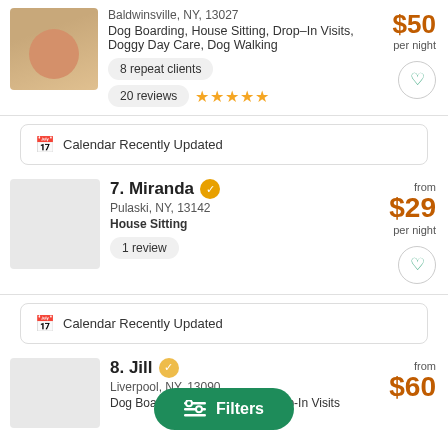Baldwinsville, NY, 13027
Dog Boarding, House Sitting, Drop-In Visits, Doggy Day Care, Dog Walking
$50 per night
8 repeat clients
20 reviews ★★★★★
Calendar Recently Updated
7. Miranda
Pulaski, NY, 13142
House Sitting
from $29 per night
1 review
Calendar Recently Updated
8. Jill
Liverpool, NY, 13090
Dog Boarding, House Sitting, Drop-In Visits
from $60